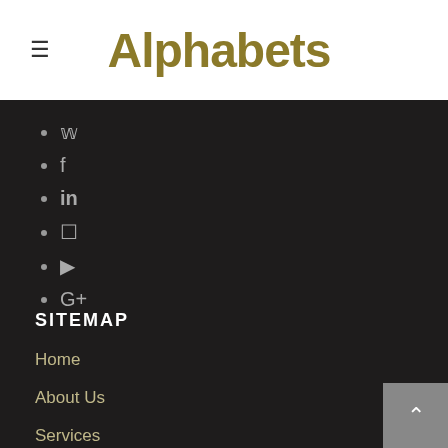Alphabets
Twitter (bird icon)
Facebook (f icon)
LinkedIn (in icon)
Instagram (camera icon)
YouTube (play icon)
Google+ (G+ icon)
SITEMAP
Home
About Us
Services
Journal